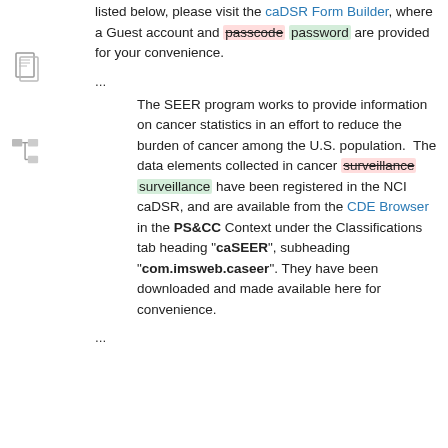listed below, please visit the caDSR Form Builder, where a Guest account and passcode password are provided for your convenience.
...
The SEER program works to provide information on cancer statistics in an effort to reduce the burden of cancer among the U.S. population. The data elements collected in cancer surveillance surveillance have been registered in the NCI caDSR, and are available from the CDE Browser in the PS&CC Context under the Classifications tab heading "caSEER", subheading "com.imsweb.caseer". They have been downloaded and made available here for convenience.
...